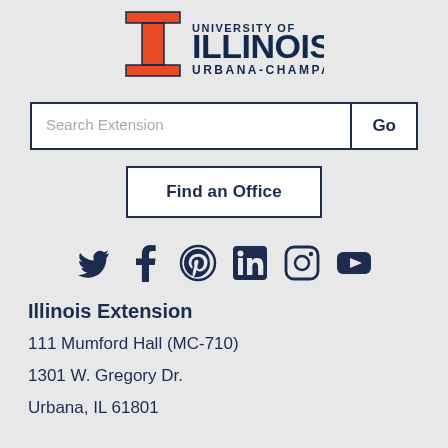[Figure (logo): University of Illinois Urbana-Champaign logo with orange block I and dark navy text]
[Figure (screenshot): Search Extension input box with Go button]
[Figure (screenshot): Find an Office button with border]
[Figure (infographic): Social media icons: Twitter, Facebook, Pinterest, LinkedIn, Instagram, YouTube]
Illinois Extension
111 Mumford Hall (MC-710)
1301 W. Gregory Dr.
Urbana, IL 61801